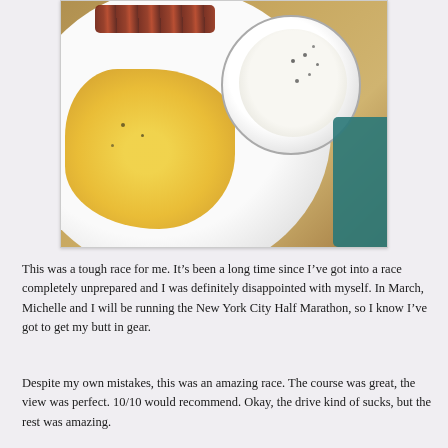[Figure (photo): A plate with scrambled eggs, a ramekin bowl of grits topped with black pepper, and bacon strips in the upper left. A teal object is visible in the lower right corner.]
This was a tough race for me. It's been a long time since I've got into a race completely unprepared and I was definitely disappointed with myself. In March, Michelle and I will be running the New York City Half Marathon, so I know I've got to get my butt in gear.
Despite my own mistakes, this was an amazing race. The course was great, the view was perfect. 10/10 would recommend. Okay, the drive kind of sucks, but the rest was amazing.